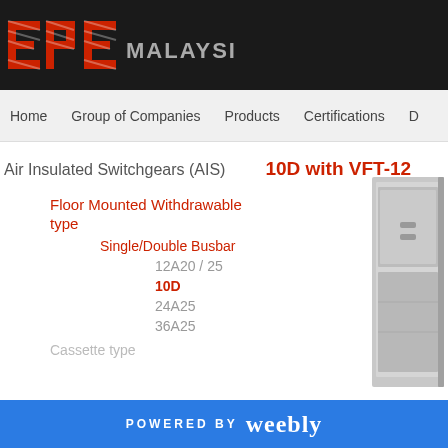EPE MALAYSIA
Home  Group of Companies  Products  Certifications  D...
Air Insulated Switchgears (AIS)
10D with VFT-12
Floor Mounted Withdrawable type
Single/Double Busbar
12A20 / 25
10D
24A25
36A25
Cassette type
[Figure (photo): Electrical switchgear cabinet unit, gray metal enclosure, partially visible on right side of page]
POWERED BY weebly